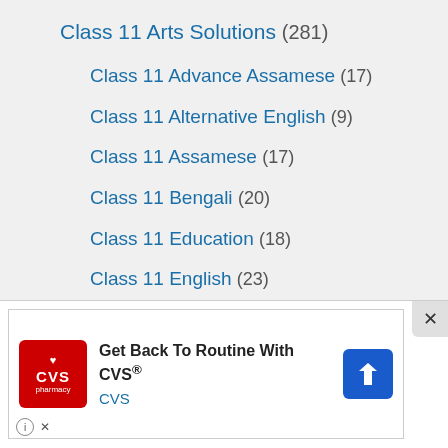Class 11 Arts Solutions (281)
Class 11 Advance Assamese (17)
Class 11 Alternative English (9)
Class 11 Assamese (17)
Class 11 Bengali (20)
Class 11 Education (18)
Class 11 English (23)
Class 11 Geography (48)
Class 11 History (24)
Class 11 Logic And Philosophy (25)
[Figure (screenshot): CVS pharmacy advertisement banner: 'Get Back To Routine With CVS® CVS' with CVS logo and navigation arrow icon]